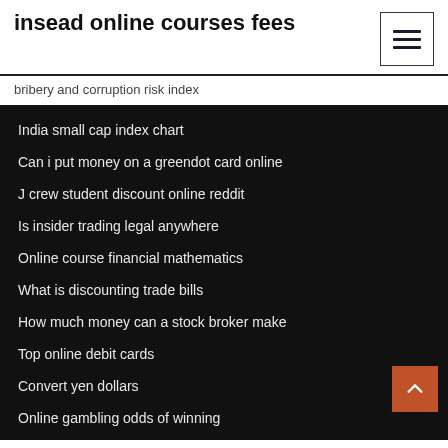insead online courses fees
bribery and corruption risk index
India small cap index chart
Can i put money on a greendot card online
J crew student discount online reddit
Is insider trading legal anywhere
Online course financial mathematics
What is discounting trade bills
How much money can a stock broker make
Top online debit cards
Convert yen dollars
Online gambling odds of winning